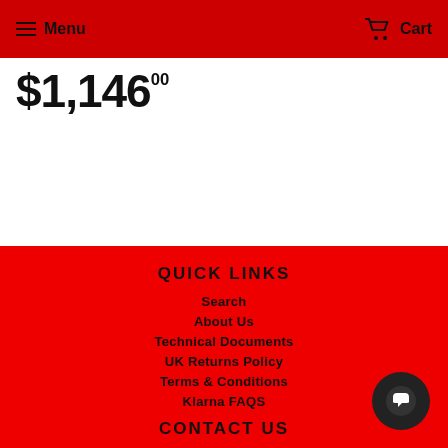Menu   Cart
$1,14600
QUICK LINKS
Search
About Us
Technical Documents
UK Returns Policy
Terms & Conditions
Klarna FAQS
CONTACT US